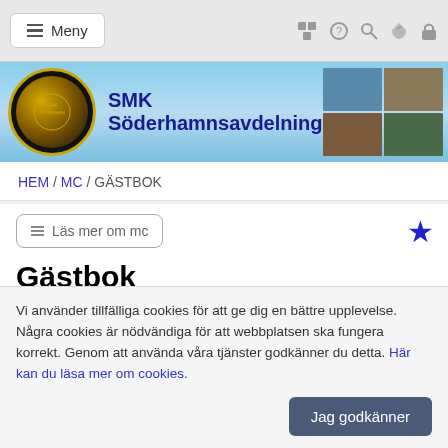≡ Meny
[Figure (logo): SMK Söderhamn club logo circle with motorsport imagery, header banner with sports photos and Svensk Bilsport / Svemo logos]
SMK Söderhamnsavdelning
HEM / MC / GÄSTBOK
Läs mer om mc
Gästbok
✎ Skriv ett nytt inlägg i gästboken
2 januari 2020 03:11 av Essen Ikan Nilem Segala Kondisi Dijamin
Vi använder tillfälliga cookies för att ge dig en bättre upplevelse. Några cookies är nödvändiga för att webbplatsen ska fungera korrekt. Genom att använda våra tjänster godkänner du detta. Här kan du läsa mer om cookies.
Jag godkänner